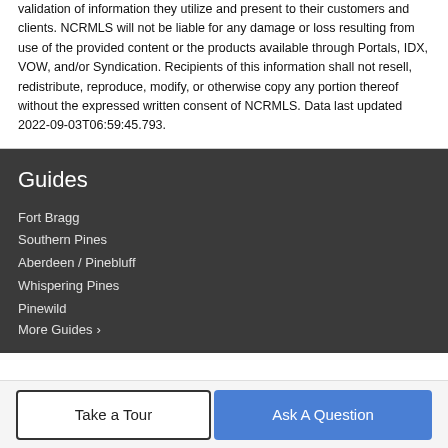validation of information they utilize and present to their customers and clients. NCRMLS will not be liable for any damage or loss resulting from use of the provided content or the products available through Portals, IDX, VOW, and/or Syndication. Recipients of this information shall not resell, redistribute, reproduce, modify, or otherwise copy any portion thereof without the expressed written consent of NCRMLS. Data last updated 2022-09-03T06:59:45.793.
Guides
Fort Bragg
Southern Pines
Aberdeen / Pinebluff
Whispering Pines
Pinewild
More Guides ›
Take a Tour
Ask A Question